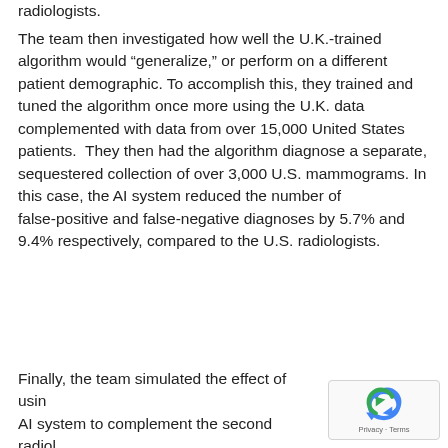radiologists.
The team then investigated how well the U.K.-trained algorithm would “generalize,” or perform on a different patient demographic. To accomplish this, they trained and tuned the algorithm once more using the U.K. data complemented with data from over 15,000 United States patients.  They then had the algorithm diagnose a separate, sequestered collection of over 3,000 U.S. mammograms. In this case, the AI system reduced the number of false-positive and false-negative diagnoses by 5.7% and 9.4% respectively, compared to the U.S. radiologists.
Finally, the team simulated the effect of using the AI system to complement the second radiologist in the double-reading process employed for